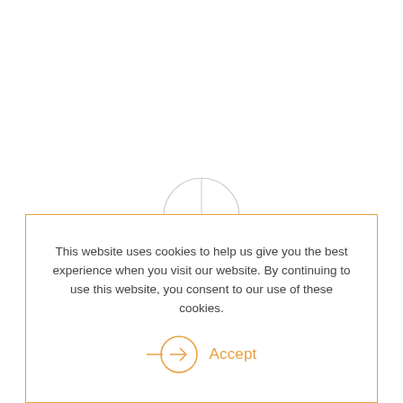[Figure (illustration): Partial circle outline visible at the top center of the cookie consent modal, partially obscured by the modal border.]
This website uses cookies to help us give you the best experience when you visit our website. By continuing to use this website, you consent to our use of these cookies.
[Figure (illustration): Orange circle with an arrow pointing right, representing an Accept button icon.]